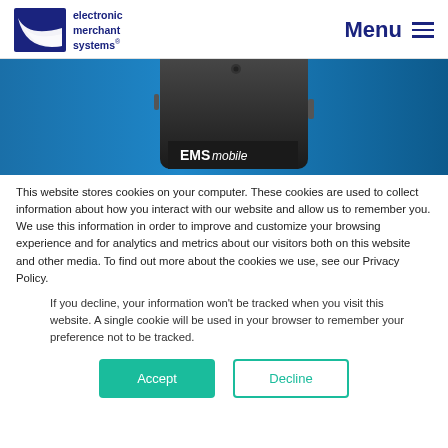[Figure (logo): Electronic Merchant Systems logo with navy blue wedge/swoosh graphic and company name text]
Menu
[Figure (photo): Hero banner image showing EMS mobile card reader device on a blue gradient background]
This website stores cookies on your computer. These cookies are used to collect information about how you interact with our website and allow us to remember you. We use this information in order to improve and customize your browsing experience and for analytics and metrics about our visitors both on this website and other media. To find out more about the cookies we use, see our Privacy Policy.
If you decline, your information won’t be tracked when you visit this website. A single cookie will be used in your browser to remember your preference not to be tracked.